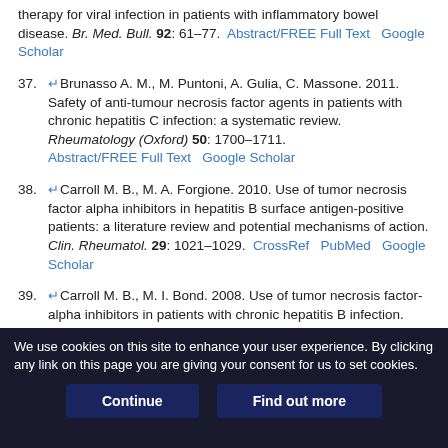therapy for viral infection in patients with inflammatory bowel disease. Br. Med. Bull. 92: 61–77. Abstract/FREE Full Text  Google Scholar
37. Brunasso A. M., M. Puntoni, A. Gulia, C. Massone. 2011. Safety of anti-tumour necrosis factor agents in patients with chronic hepatitis C infection: a systematic review. Rheumatology (Oxford) 50: 1700–1711. Abstract/FREE Full Text  Google Scholar
38. Carroll M. B., M. A. Forgione. 2010. Use of tumor necrosis factor alpha inhibitors in hepatitis B surface antigen-positive patients: a literature review and potential mechanisms of action. Clin. Rheumatol. 29: 1021–1029. CrossRef  PubMed  Google Scholar
39. Carroll M. B., M. I. Bond. 2008. Use of tumor necrosis factor-alpha inhibitors in patients with chronic hepatitis B infection. Semin. Arthritis Rheum. 38: 208–217. CrossRef  PubMed  Google Scholar
We use cookies on this site to enhance your user experience. By clicking any link on this page you are giving your consent for us to set cookies.